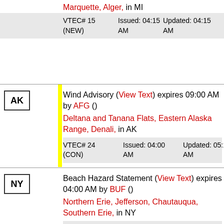Marquette, Alger, in MI
| VTEC# 15 (NEW) | Issued: 04:15 AM | Updated: 04:15 AM |
| --- | --- | --- |
Wind Advisory (View Text) expires 09:00 AM by AFG () Deltana and Tanana Flats, Eastern Alaska Range, Denali, in AK
| VTEC# 24 (CON) | Issued: 04:00 AM | Updated: 05:10 AM |
| --- | --- | --- |
Beach Hazard Statement (View Text) expires 04:00 AM by BUF () Northern Erie, Jefferson, Chautauqua, Southern Erie, in NY
| VTEC# 13 (CON) | Issued: 04:00 PM | Updated: 02:47 PM |
| --- | --- | --- |